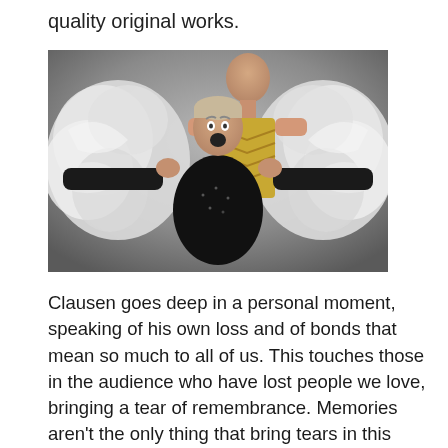quality original works.
[Figure (photo): Two performers on stage: a person in a black sequined jacket with arms outstretched holding large white ruffled fabric pieces, and another taller person behind them in a gold chevron costume, against a gray background.]
Clausen goes deep in a personal moment, speaking of his own loss and of bonds that mean so much to all of us. This touches those in the audience who have lost people we love, bringing a tear of remembrance. Memories aren't the only thing that bring tears in this show, Clausen's otherworldly vocal skill shoots you up into the heavens, flying high, gently evoking a flood of feelings. Like all good artists, his voice